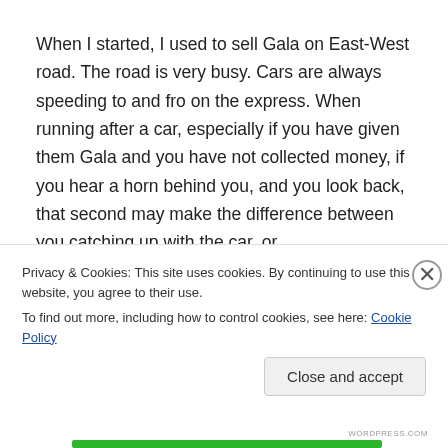When I started, I used to sell Gala on East-West road. The road is very busy. Cars are always speeding to and fro on the express. When running after a car, especially if you have given them Gala and you have not collected money, if you hear a horn behind you, and you look back, that second may make the difference between you catching up with the car, or
Privacy & Cookies: This site uses cookies. By continuing to use this website, you agree to their use.
To find out more, including how to control cookies, see here: Cookie Policy
Close and accept